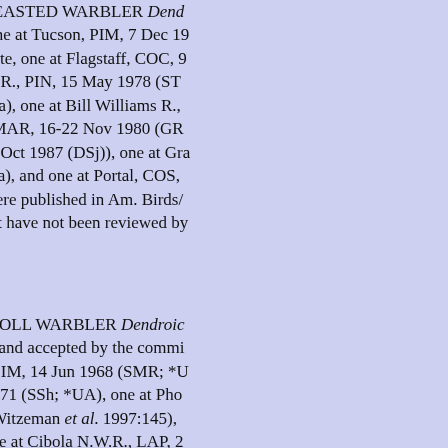BAY-BREASTED WARBLER Dendroica castanea. Records include one at Tucson, PIM, 7 Dec 1... for the state, one at Flagstaff, COC, 9... lower S.P.R., PIN, 15 May 1978 (ST... 1978 (RBa), one at Bill Williams R.,... Paloma, MAR, 16-22 Nov 1980 (GR... MAR, 21 Oct 1987 (DSj)), one at Gra... 1989 (SGa), and one at Portal, COS,... reports were published in Am. Birds/... 1982), but have not been reviewed by...
BLACKPOLL WARBLER Dendroica striata. Records reviewed and accepted by the commi... N.W.R., PIM, 14 Jun 1968 (SMR; *U... 18 Sep 1971 (SSh; *UA), one at Pho... TSj; see Witzeman et al. 1997:145),... (PNo), one at Cibola N.W.R., LAP, 2... Springerville, APA, 18 Sep 1987 (ph... near Tubac, SCR, 15 Sep 1991 (RHa... 1992 (KK), and one at South Fork of... 1994 (ph. RJo). At least 15 additiona... Birds/NASFN, including seven in 19... A.B.C.